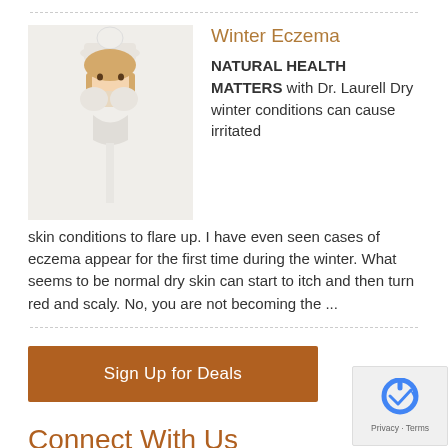[Figure (photo): Woman in white winter coat and hat holding hands to her face, winter fashion photo]
Winter Eczema
NATURAL HEALTH MATTERS with Dr. Laurell Dry winter conditions can cause irritated skin conditions to flare up. I have even seen cases of eczema appear for the first time during the winter. What seems to be normal dry skin can start to itch and then turn red and scaly. No, you are not becoming the ...
Sign Up for Deals
Connect With Us